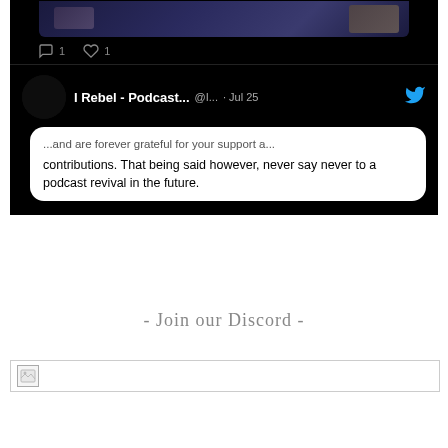[Figure (screenshot): Screenshot of a Twitter/X post by 'I Rebel - Podcast...' (@I...) dated Jul 25, showing a tweet bubble with text: '...and are forever grateful for your support and contributions. That being said however, never say never to a podcast revival in the future.' The post has 1 comment and 1 like. There is a dark image above the tweet showing sports/gaming imagery. The account has a pink podcast logo avatar.]
- Join our Discord -
[Figure (other): Broken/missing image placeholder with a small image icon on the left, spanning the width of the content area.]